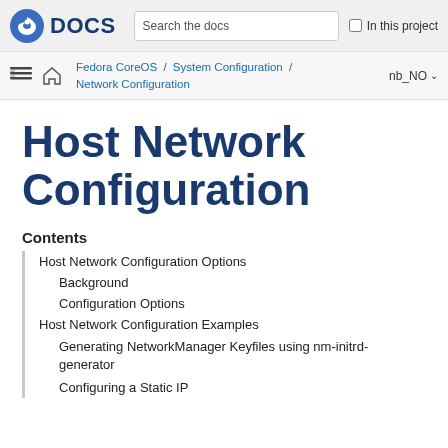Fedora DOCS — Search the docs — In this project
Fedora CoreOS / System Configuration / Network Configuration  nb_NO
Host Network Configuration
Contents
Host Network Configuration Options
Background
Configuration Options
Host Network Configuration Examples
Generating NetworkManager Keyfiles using nm-initrd-generator
Configuring a Static IP